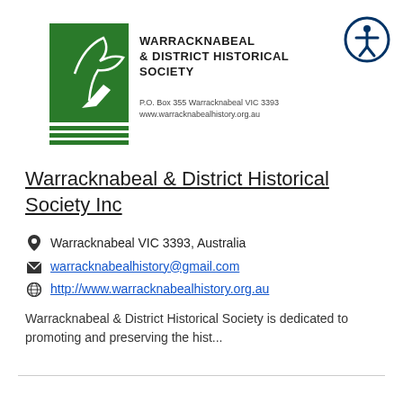[Figure (logo): Warracknabeal & District Historical Society logo — green rectangle with a stylized swan/bird, horizontal lines below, organization name to the right, P.O. Box 355 Warracknabeal VIC 3393, www.warracknabealhistory.org.au]
[Figure (logo): Circular accessibility icon (person with arms outstretched) with dark blue border on white background, top right corner]
Warracknabeal & District Historical Society Inc
Warracknabeal VIC 3393, Australia
warracknabealhistory@gmail.com
http://www.warracknabealhistory.org.au
Warracknabeal & District Historical Society is dedicated to promoting and preserving the hist...